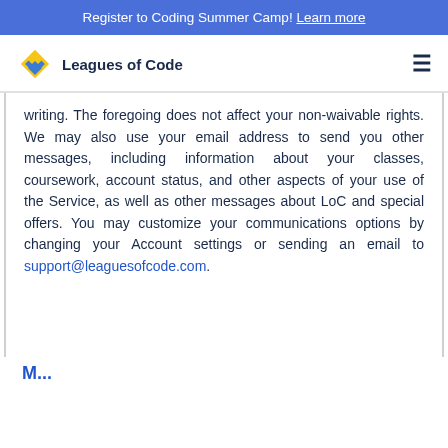Register to Coding Summer Camp! Learn more
[Figure (logo): Leagues of Code logo with diamond icon and text]
writing. The foregoing does not affect your non-waivable rights. We may also use your email address to send you other messages, including information about your classes, coursework, account status, and other aspects of your use of the Service, as well as other messages about LoC and special offers. You may customize your communications options by changing your Account settings or sending an email to support@leaguesofcode.com.
M...